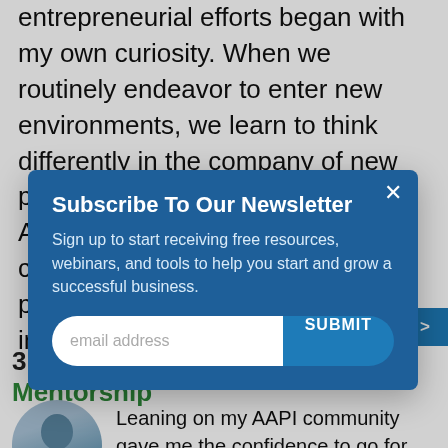entrepreneurial efforts began with my own curiosity. When we routinely endeavor to enter new environments, we learn to think differently in the company of new people. . Today, being an Asian American has many layers of challenges. Because I continually push my limits, I am able to innovate, pave
[Figure (screenshot): Newsletter subscription modal popup with blue background. Title: 'Subscribe To Our Newsletter'. Body text: 'Sign up to start receiving free resources, webinars, and tools to help you start and grow a successful business.' Email input field with SUBMIT button. Close (×) button in top right.]
3. Relying on Community Mentorship
[Figure (photo): Circular portrait photo of an Asian man, cropped, showing head and shoulders against a light blue background.]
Leaning on my AAPI community gave me the confidence to go for